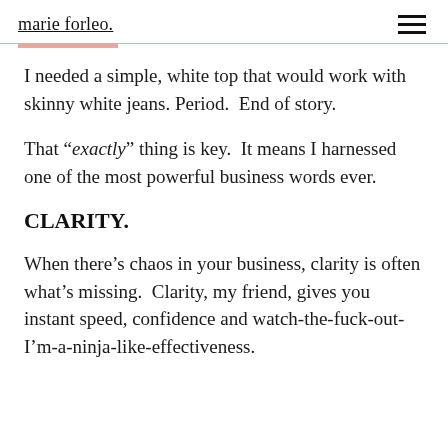marie forleo.
I needed a simple, white top that would work with skinny white jeans. Period.  End of story.
That “exactly” thing is key.  It means I harnessed one of the most powerful business words ever.
CLARITY.
When there’s chaos in your business, clarity is often what’s missing.  Clarity, my friend, gives you instant speed, confidence and watch-the-fuck-out-I’m-a-ninja-like-effectiveness.